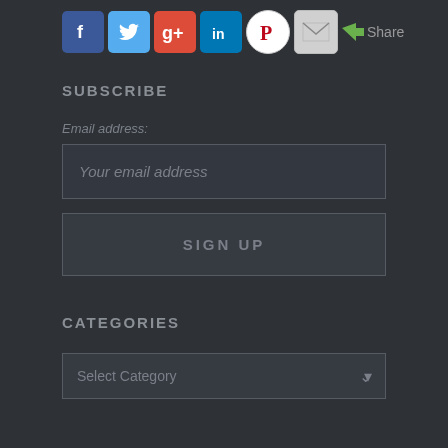[Figure (infographic): Social media sharing icons row: Facebook (blue), Twitter (blue bird), Google+ (red), LinkedIn (blue), Pinterest (white/red), Email (grey envelope), Share text with arrow icon]
SUBSCRIBE
Email address:
Your email address
SIGN UP
CATEGORIES
Select Category